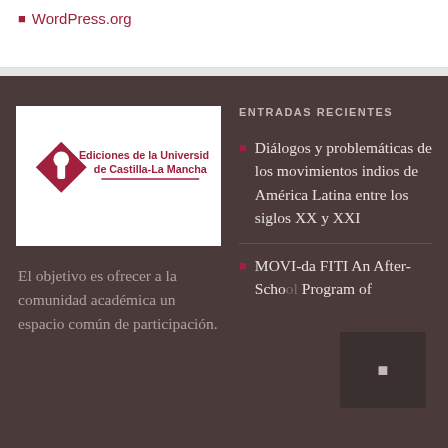WordPress.org
[Figure (logo): Ediciones de la Universidad de Castilla-La Mancha logo with red diamond/keyhole icon]
El objetivo es ofrecer a la comunidad académica un espacio común de participación.
ENTRADAS RECIENTES
Diálogos y problemáticas de los movimientos indios de América Latina entre los siglos XX y XXI
MOVI-da FITI An After-School Program of